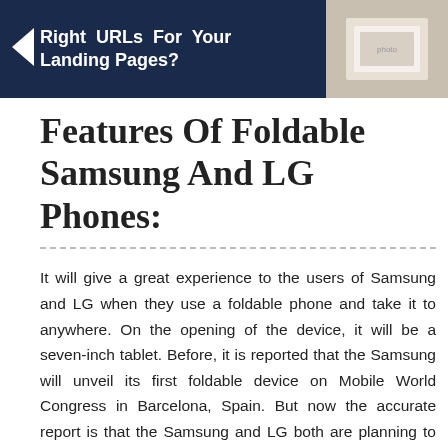Right URLs For Your Landing Pages?
Features Of Foldable Samsung And LG Phones:
It will give a great experience to the users of Samsung and LG when they use a foldable phone and take it to anywhere. On the opening of the device, it will be a seven-inch tablet. Before, it is reported that the Samsung will unveil its first foldable device on Mobile World Congress in Barcelona, Spain. But now the accurate report is that the Samsung and LG both are planning to launch the new devices with foldable screens in the